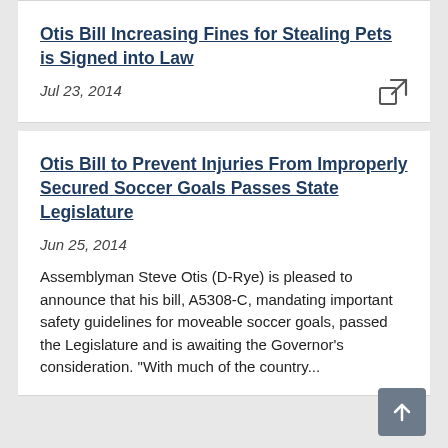Otis Bill Increasing Fines for Stealing Pets is Signed into Law
Jul 23, 2014
Otis Bill to Prevent Injuries From Improperly Secured Soccer Goals Passes State Legislature
Jun 25, 2014
Assemblyman Steve Otis (D-Rye) is pleased to announce that his bill, A5308-C, mandating important safety guidelines for moveable soccer goals, passed the Legislature and is awaiting the Governor's consideration. "With much of the country...